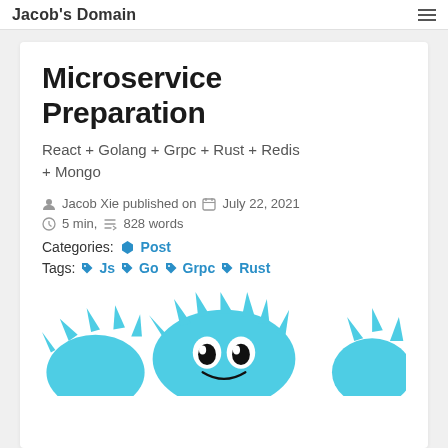Jacob's Domain
Microservice Preparation
React + Golang + Grpc + Rust + Redis + Mongo
Jacob Xie published on  July 22, 2021
5 min,  828 words
Categories:  Post
Tags:  Js  Go  Grpc  Rust
[Figure (illustration): Cartoon character illustration in teal/cyan color, partially visible at bottom of page - appears to be a Rick and Morty style character]